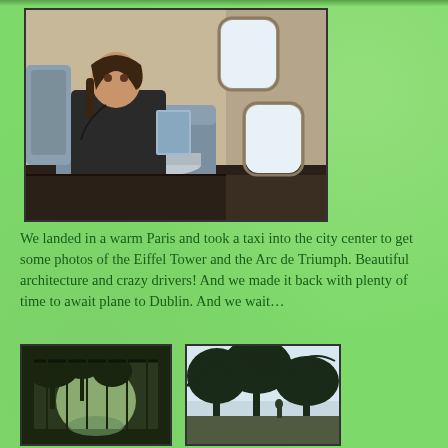[Figure (photo): Person sitting in business class airplane seat, holding a magazine, with airplane windows visible in background]
We landed in a warm Paris and took a taxi into the city center to get some photos of the Eiffel Tower and the Arc de Triumph. Beautiful architecture and crazy drivers! And we made it back with plenty of time to await plane to Dublin. And we wait…
[Figure (photo): Outdoor scene in Paris, trees and architecture visible, dark shadowed foreground]
[Figure (photo): Outdoor scene with trees in silhouette against bright sky, figure visible in background]